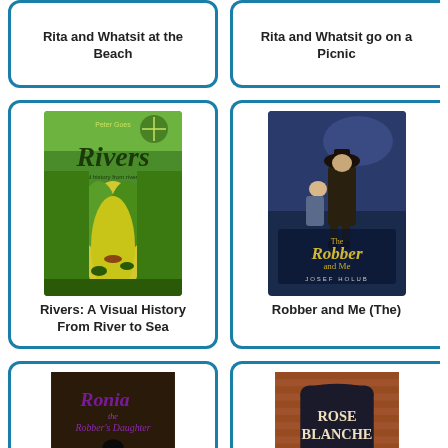[Figure (illustration): Book cover card for 'Rita and Whatsit at the Beach' - teal bordered card, top-left]
Rita and Whatsit at the Beach
[Figure (illustration): Book cover card for 'Rita and Whatsit go on a Picnic' - teal bordered card, top-right]
Rita and Whatsit go on a Picnic
[Figure (illustration): Book cover for 'Rivers: A Visual History From River to Sea' - green illustrated cover showing a river scene]
Rivers: A Visual History From River to Sea
[Figure (illustration): Book cover for 'Robber and Me (The)' - dark blue cover with two characters]
Robber and Me (The)
[Figure (illustration): Book cover for 'Ronia the Robber's Daughter' - bottom-left card, partial view]
[Figure (illustration): Book cover for 'Rose Blanche' - bottom-right card, partial view]